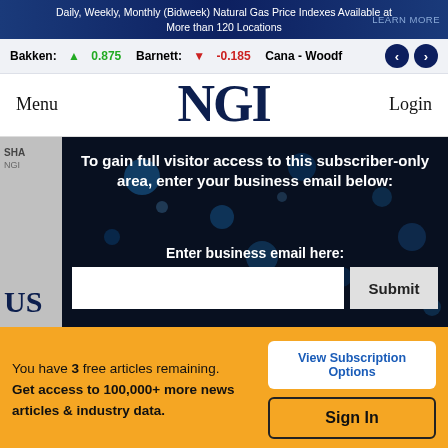Daily, Weekly, Monthly (Bidweek) Natural Gas Price Indexes Available at More than 120 Locations    LEARN MORE
Bakken: ▲ 0.875   Barnett: ▼ -0.185   Cana - Woodf
NGI
Menu
Login
To gain full visitor access to this subscriber-only area, enter your business email below:
Enter business email here:
Submit
SHA
NGI
US
You have 3 free articles remaining.
Get access to 100,000+ more news articles & industry data.
View Subscription Options
Sign In